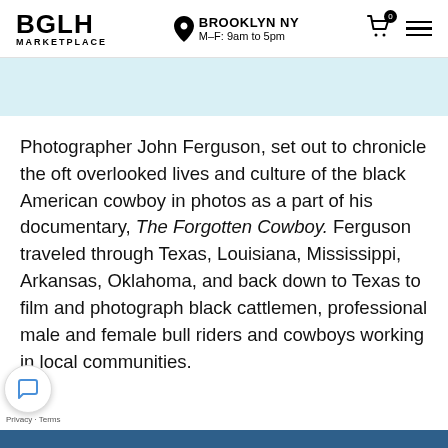BGLH MARKETPLACE — BROOKLYN NY M–F: 9am to 5pm
Photographer John Ferguson, set out to chronicle the oft overlooked lives and culture of the black American cowboy in photos as a part of his documentary, The Forgotten Cowboy. Ferguson traveled through Texas, Louisiana, Mississippi, Arkansas, Oklahoma, and back down to Texas to film and photograph black cattlemen, professional male and female bull riders and cowboys working in local communities.